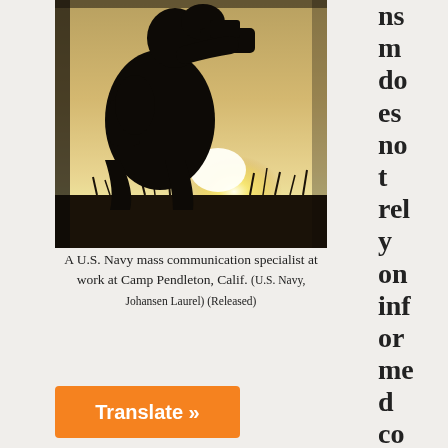[Figure (photo): A silhouetted U.S. Navy mass communication specialist using camera equipment at Camp Pendleton, Calif., photographed against a bright sunset background with tall grass in the field.]
A U.S. Navy mass communication specialist at work at Camp Pendleton, Calif. (U.S. Navy, Johansen Laurel) (Released)
ns m do es no t rel y on inf or me d co ns
Translate »